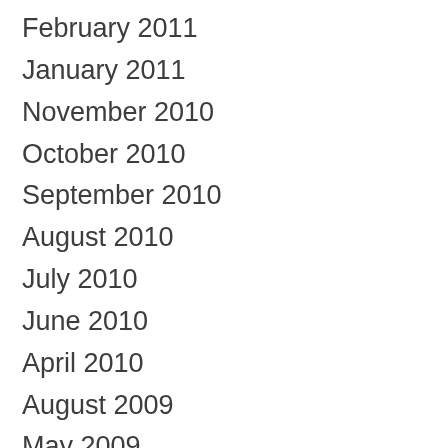February 2011
January 2011
November 2010
October 2010
September 2010
August 2010
July 2010
June 2010
April 2010
August 2009
May 2009
April 2009
January 2009
December 2008
October 2008
September 2008
August 2008